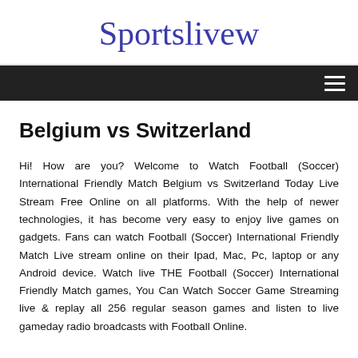Sportslivew
Belgium vs Switzerland
Hi! How are you? Welcome to Watch Football (Soccer) International Friendly Match Belgium vs Switzerland Today Live Stream Free Online on all platforms. With the help of newer technologies, it has become very easy to enjoy live games on gadgets. Fans can watch Football (Soccer) International Friendly Match Live stream online on their Ipad, Mac, Pc, laptop or any Android device. Watch live THE Football (Soccer) International Friendly Match games, You Can Watch Soccer Game Streaming live & replay all 256 regular season games and listen to live gameday radio broadcasts with Football Online.